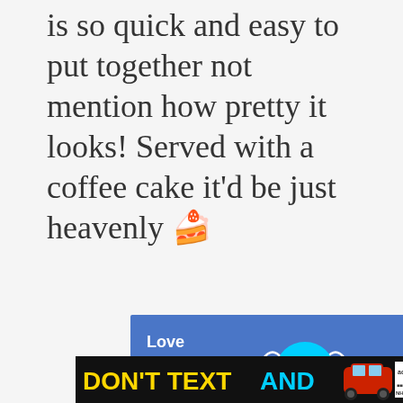Red, White, and Blue Parfait! is so quick and easy to put together not mention how pretty it looks! Served with a coffee cake it'd be just heavenly 🍰
[Figure (screenshot): Blue advertisement banner with text 'Love Your Smile.' and a cyan blob icon with #HelpByDesign hashtag, with close button X]
[Figure (screenshot): Black advertisement banner with yellow and cyan text 'DON'T TEXT AND' with a red car graphic and NHTSA ad logo, with close button X]